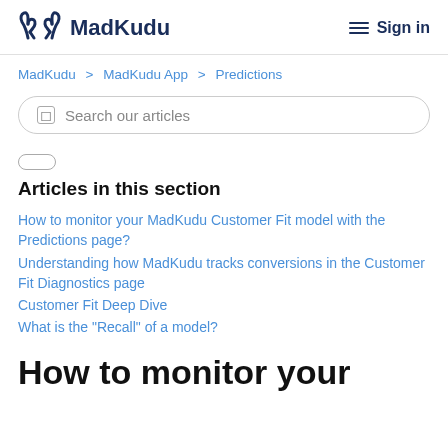MadKudu | Sign in
MadKudu > MadKudu App > Predictions
Search our articles
Articles in this section
How to monitor your MadKudu Customer Fit model with the Predictions page?
Understanding how MadKudu tracks conversions in the Customer Fit Diagnostics page
Customer Fit Deep Dive
What is the "Recall" of a model?
How to monitor your